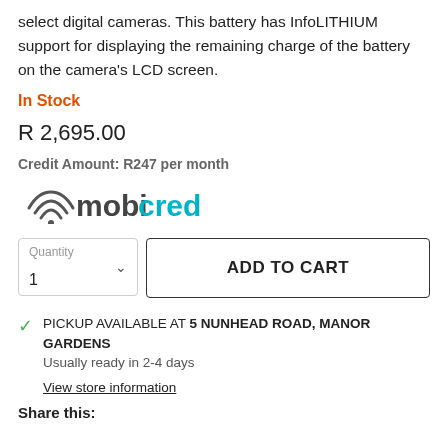select digital cameras. This battery has InfoLITHIUM support for displaying the remaining charge of the battery on the camera's LCD screen.
In Stock
R 2,695.00
Credit Amount: R247 per month
[Figure (logo): Mobicred logo with wifi-style icon above the m]
Quantity 1
ADD TO CART
PICKUP AVAILABLE AT 5 NUNHEAD ROAD, MANOR GARDENS
Usually ready in 2-4 days
View store information
Share this: